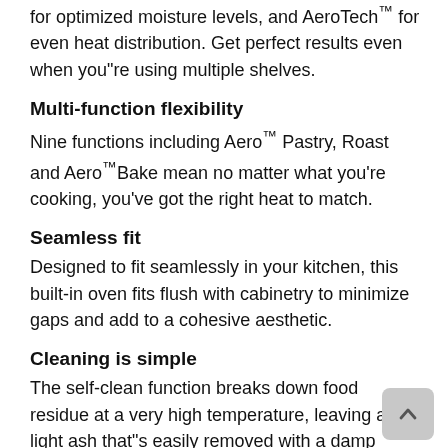for optimized moisture levels, and AeroTech™ for even heat distribution. Get perfect results even when you"re using multiple shelves.
Multi-function flexibility
Nine functions including Aero™ Pastry, Roast and Aero™Bake mean no matter what you're cooking, you've got the right heat to match.
Seamless fit
Designed to fit seamlessly in your kitchen, this built-in oven fits flush with cabinetry to minimize gaps and add to a cohesive aesthetic.
Cleaning is simple
The self-clean function breaks down food residue at a very high temperature, leaving a light ash that"s easily removed with a damp cloth.
The Beauty of Choice
With the choice of stylish stainless steel or elegant